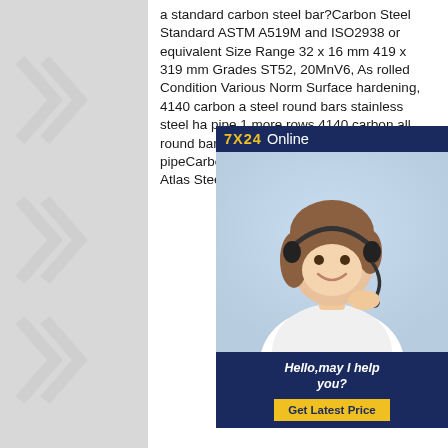a standard carbon steel bar?Carbon Steel Standard ASTM A519M and ISO2938 or equivalent Size Range 32 x 16 mm 419 x 319 mm Grades ST52, 20MnV6, As rolled Condition Various Norm Surface hardening, 4140 carbon steel round bars stainless steel ha pipe 1 more rows 4140 carbon all round bars stainless steel half rou pipeCarbon, Alloy and Stainless H Bar - Atlas Steels
[Figure (photo): Customer service advertisement widget with dark blue header showing '7X24 Online', a photo of a smiling woman with headset, and footer with 'Hello,may I help you?' text and yellow 'Get Latest Price' button.]
Grade Guide AISI 4140 Steel - Metal Supermarkets
AISI 4140 steel is a low alloy steel containing chromium, molybdenum, and manganese. It is widely used across numerous industries and is an excellent